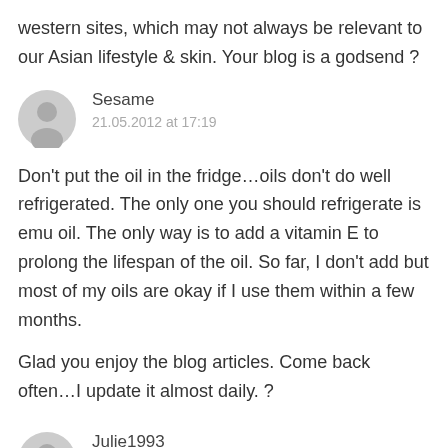western sites, which may not always be relevant to our Asian lifestyle & skin. Your blog is a godsend ?
Sesame
21.05.2012 at 17:19
Don't put the oil in the fridge…oils don't do well refrigerated. The only one you should refrigerate is emu oil. The only way is to add a vitamin E to prolong the lifespan of the oil. So far, I don't add but most of my oils are okay if I use them within a few months.
Glad you enjoy the blog articles. Come back often…I update it almost daily. ?
Julie1993
09.06.2012 at 19:59